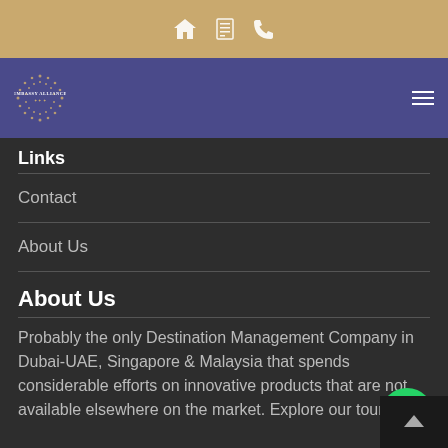Embassy Alliance website header with home, menu, and phone icons
[Figure (logo): Embassy Alliance logo with circular dot pattern and text on purple navigation bar]
Links
Contact
About Us
About Us
Probably the only Destination Management Company in Dubai-UAE, Singapore & Malaysia that spends considerable efforts on innovative products that are not available elsewhere on the market. Explore our tours